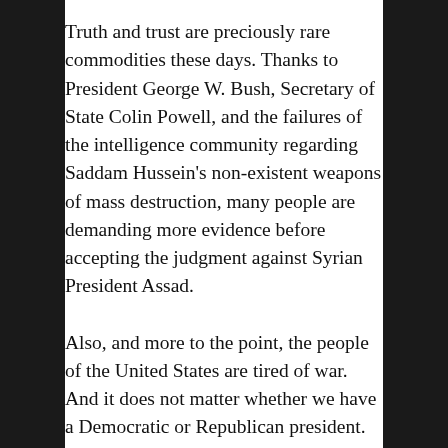Truth and trust are preciously rare commodities these days. Thanks to President George W. Bush, Secretary of State Colin Powell, and the failures of the intelligence community regarding Saddam Hussein's non-existent weapons of mass destruction, many people are demanding more evidence before accepting the judgment against Syrian President Assad.
Also, and more to the point, the people of the United States are tired of war. And it does not matter whether we have a Democratic or Republican president. The people want to have a voice when it comes to military action abroad.
One might be tempted to argue that the people's will is articulated by its representatives in Congress. However, at least in the House of Representatives, that